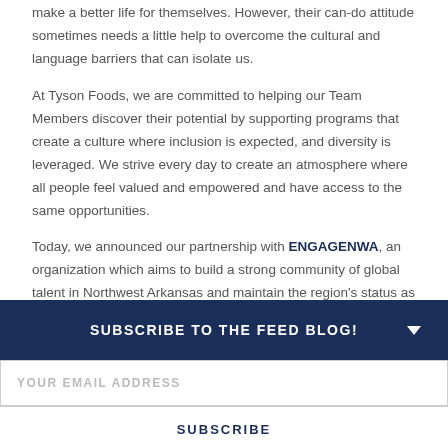make a better life for themselves. However, their can-do attitude sometimes needs a little help to overcome the cultural and language barriers that can isolate us.
At Tyson Foods, we are committed to helping our Team Members discover their potential by supporting programs that create a culture where inclusion is expected, and diversity is leveraged. We strive every day to create an atmosphere where all people feel valued and empowered and have access to the same opportunities.
Today, we announced our partnership with ENGAGENWA, an organization which aims to build a strong community of global talent in Northwest Arkansas and maintain the region’s status as one of the NATION’S BEST PLACES TO LIVE.
Engage NWA has a new web of resources that online visiting...
SUBSCRIBE TO THE FEED BLOG!
YOUR EMAIL ADDRESS
SUBSCRIBE